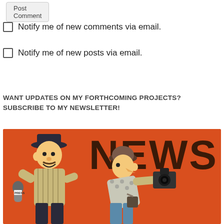Post Comment
Notify me of new comments via email.
Notify me of new posts via email.
WANT UPDATES ON MY FORTHCOMING PROJECTS? SUBSCRIBE TO MY NEWSLETTER!
[Figure (illustration): News illustration with orange background showing two cartoon figurines — a reporter holding a microphone labeled 'PRESS' and a photographer with a camera — with large bold text 'NEWS' in dark brown at the top right.]